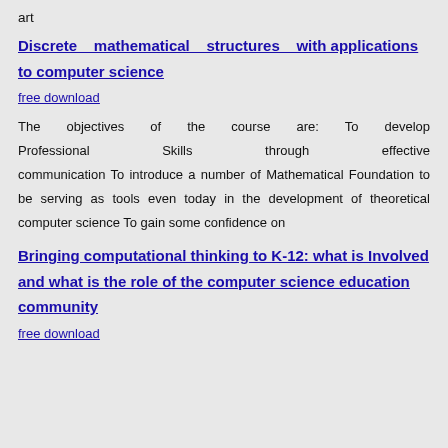art
Discrete mathematical structures with applications to computer science
free download
The objectives of the course are: To develop Professional Skills through effective communication To introduce a number of Mathematical Foundation to be serving as tools even today in the development of theoretical computer science To gain some confidence on
Bringing computational thinking to K-12: what is Involved and what is the role of the computer science education community
free download